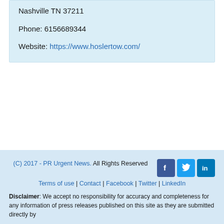Nashville TN 37211

Phone: 6156689344

Website: https://www.hoslertow.com/
(C) 2017 - PR Urgent News. All Rights Reserved
Terms of use | Contact | Facebook | Twitter | LinkedIn
Disclaimer: We accept no responsibility for accuracy and completeness for any information of press releases published on this site as they are submitted directly by